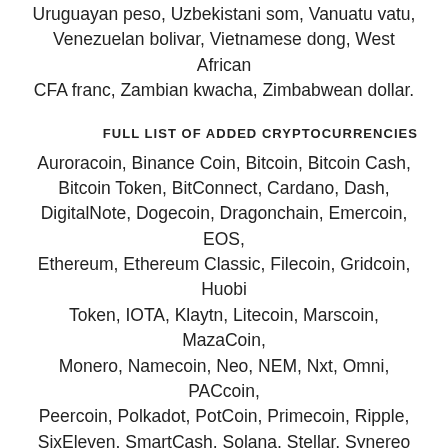Uruguayan peso, Uzbekistani som, Vanuatu vatu, Venezuelan bolivar, Vietnamese dong, West African CFA franc, Zambian kwacha, Zimbabwean dollar.
FULL LIST OF ADDED CRYPTOCURRENCIES
Auroracoin, Binance Coin, Bitcoin, Bitcoin Cash, Bitcoin Token, BitConnect, Cardano, Dash, DigitalNote, Dogecoin, Dragonchain, Emercoin, EOS, Ethereum, Ethereum Classic, Filecoin, Gridcoin, Huobi Token, IOTA, Klaytn, Litecoin, Marscoin, MazaCoin, Monero, Namecoin, Neo, NEM, Nxt, Omni, PACcoin, Peercoin, Polkadot, PotCoin, Primecoin, Ripple, SixEleven, SmartCash, Solana, Stellar, Synereo AMP, Terra, Tether, THETA, Titcoin, TRON, Ubiq, VeChain, Vertcoin, Zcash.
PRO VERSION
In Pro version you can add also custom currencies